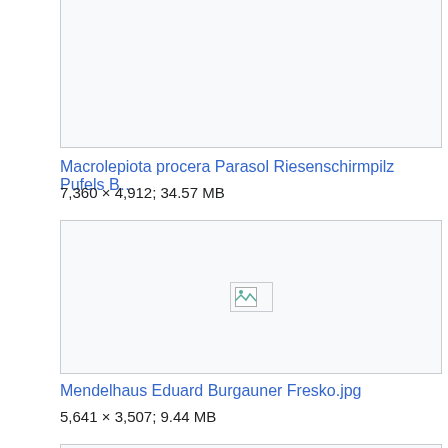[Figure (screenshot): Thumbnail placeholder box (broken image icon) for Macrolepiota procera file, top portion visible]
Macrolepiota procera Parasol Riesenschirmpilz Pufels B…
7,360 × 4,912; 34.57 MB
[Figure (screenshot): Thumbnail placeholder box (broken image icon) for Mendelhaus Eduard Burgauner Fresko.jpg]
Mendelhaus Eduard Burgauner Fresko.jpg
5,641 × 3,507; 9.44 MB
[Figure (screenshot): Thumbnail placeholder box (broken image icon) for third file, partially visible]